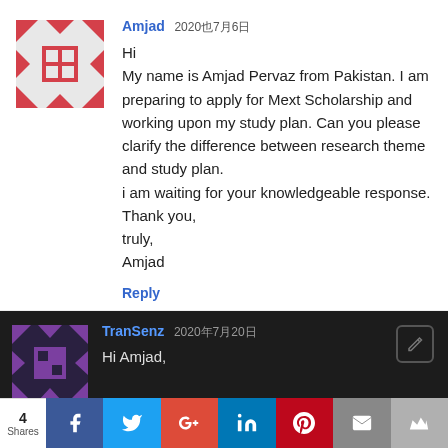[Figure (illustration): Quilt pattern avatar for user Amjad, pink/rose colored geometric pattern on light grey background]
Amjad 2020年7月6日
Hi
My name is Amjad Pervaz from Pakistan. I am preparing to apply for Mext Scholarship and working upon my study plan. Can you please clarify the difference between research theme and study plan.
i am waiting for your knowledgeable response.
Thank you,
truly,
Amjad
Reply
[Figure (illustration): Quilt pattern avatar for user TranSenz, purple/violet colored geometric pattern on dark background]
TranSenz 2020年7月20日
Hi Amjad,